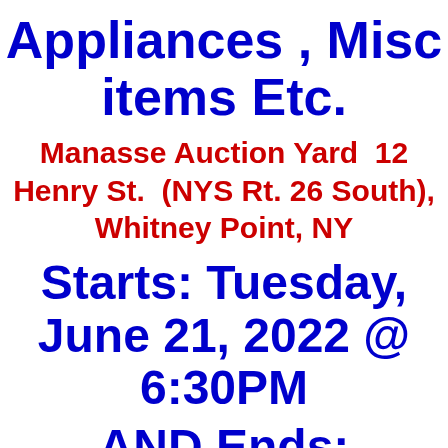Appliances , Misc items Etc.
Manasse Auction Yard  12 Henry St.  (NYS Rt. 26 South), Whitney Point, NY
Starts: Tuesday, June 21, 2022 @ 6:30PM
AND Ends: Tuesday